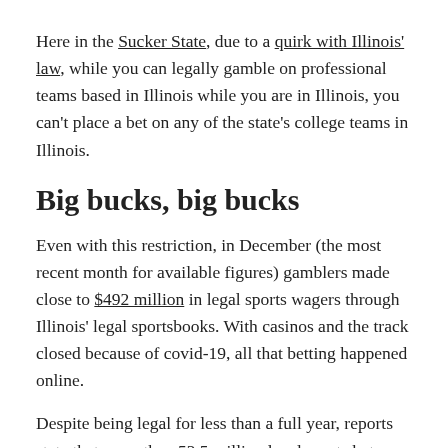Here in the Sucker State, due to a quirk with Illinois' law, while you can legally gamble on professional teams based in Illinois while you are in Illinois, you can't place a bet on any of the state's college teams in Illinois.
Big bucks, big bucks
Even with this restriction, in December (the most recent month for available figures) gamblers made close to $492 million in legal sports wagers through Illinois' legal sportsbooks. With casinos and the track closed because of covid-19, all that betting happened online.
Despite being legal for less than a full year, reports state that more than 52.5 million legal sports bets were placed in Illinois, with close to $1.9 billion wagered during 2020.
Gambling on sporting events now is legally available in at least